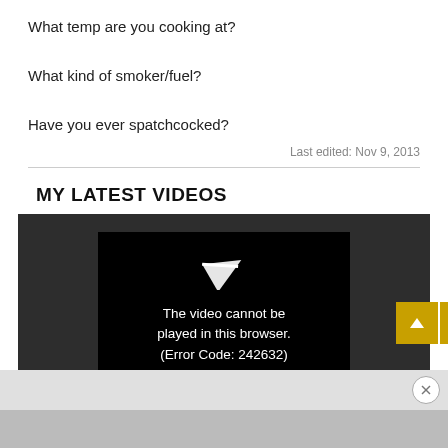What temp are you cooking at?
What kind of smoker/fuel?
Have you ever spatchcocked?
Last edited: Nov 9, 2013
MY LATEST VIDEOS
[Figure (screenshot): Video player showing error: The video cannot be played in this browser. (Error Code: 242632), with navigation up/down arrow buttons in gold/yellow color.]